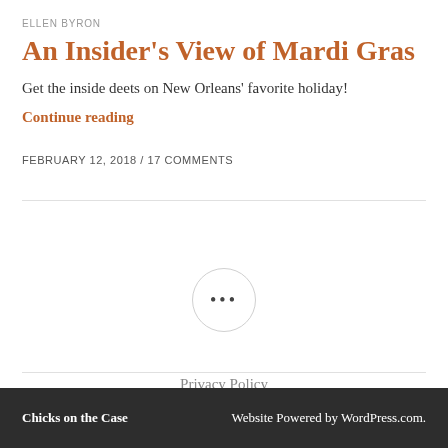ELLEN BYRON
An Insider's View of Mardi Gras
Get the inside deets on New Orleans' favorite holiday!
Continue reading
FEBRUARY 12, 2018 / 17 COMMENTS
[Figure (other): Circular button with three dots (ellipsis) used as a pagination or menu indicator]
Privacy Policy
Chicks on the Case     Website Powered by WordPress.com.